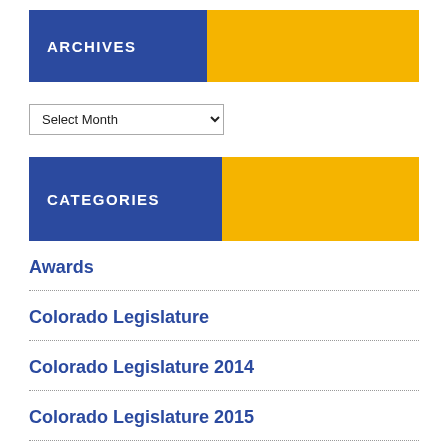ARCHIVES
Select Month
CATEGORIES
Awards
Colorado Legislature
Colorado Legislature 2014
Colorado Legislature 2015
Colorado Legislature 2016